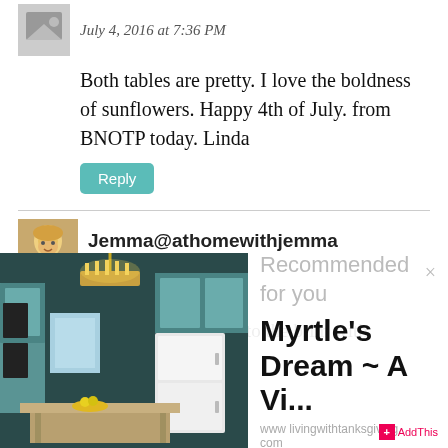July 4, 2016 at 7:36 PM
Both tables are pretty. I love the boldness of sunflowers. Happy 4th of July. from BNOTP today. Linda
Reply
Jemma@athomewithjemma
July 5, 2016 at 7:35 AM
Good Morning Bonnie,
What a wonderful post, filled to the brim with
[Figure (photo): Kitchen interior with teal/turquoise cabinets, chandelier, and white refrigerator]
Recommended for you
Myrtle's Dream ~ A Vi...
www.livingwithtanksgiving.com
AddThis